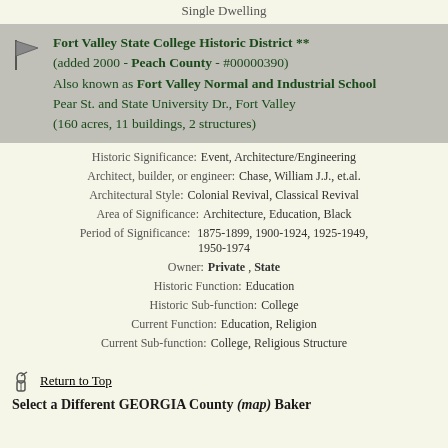Single Dwelling
Fort Valley State College Historic District ** (added 2000 - Peach County - #00000390) Also known as Fort Valley Normal and Industrial School Pear St. and State University Dr., Fort Valley (160 acres, 11 buildings, 2 structures)
Historic Significance: Event, Architecture/Engineering
Architect, builder, or engineer: Chase, William J.J., et.al.
Architectural Style: Colonial Revival, Classical Revival
Area of Significance: Architecture, Education, Black
Period of Significance: 1875-1899, 1900-1924, 1925-1949, 1950-1974
Owner: Private , State
Historic Function: Education
Historic Sub-function: College
Current Function: Education, Religion
Current Sub-function: College, Religious Structure
Return to Top
Select a Different GEORGIA County (map) Baker